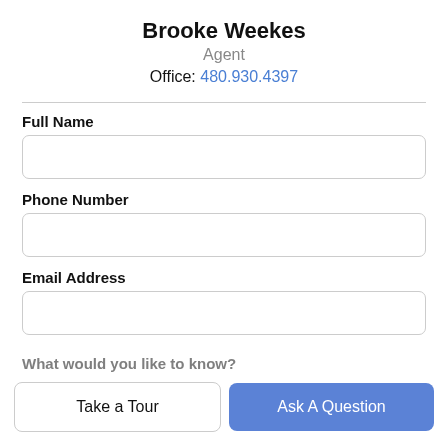Brooke Weekes
Agent
Office: 480.930.4397
Full Name
Phone Number
Email Address
What would you like to know?
Take a Tour
Ask A Question